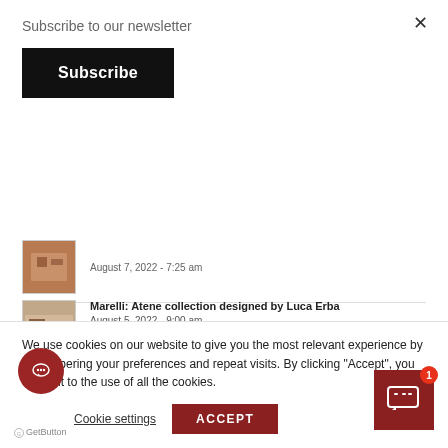Subscribe to our newsletter
Subscribe
[Figure (screenshot): Small thumbnail image of furniture/room - partially visible blog post entry with date August 7, 2022 - 7:25 am]
Marelli: Atene collection designed by Luca Erba - August 5, 2022 - 9:00 am
FOLLOW US ON INSTAGRAM
We use cookies on our website to give you the most relevant experience by remembering your preferences and repeat visits. By clicking "Accept", you consent to the use of all the cookies.
Cookie settings
ACCEPT